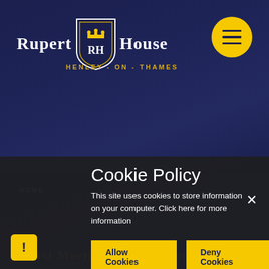[Figure (logo): Rupert House school logo with shield emblem showing RH initials and crown, with text RUPERT HOUSE on either side]
HENLEY - ON - THAMES
[Figure (other): Yellow circular hamburger menu button with three horizontal lines]
Cookie Policy
This site uses cookies to store information on your computer. Click here for more information
Allow Cookies
Deny Cookies